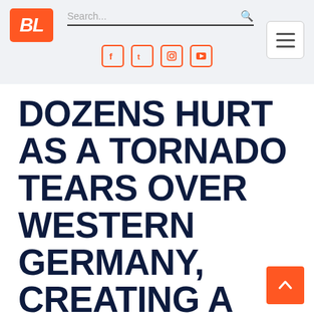BL — Search bar with social icons (Facebook, Twitter, Instagram, YouTube) and hamburger menu
DOZENS HURT AS A TORNADO TEARS OVER WESTERN GERMANY, CREATING A "PATH OF DESTRUCTION"